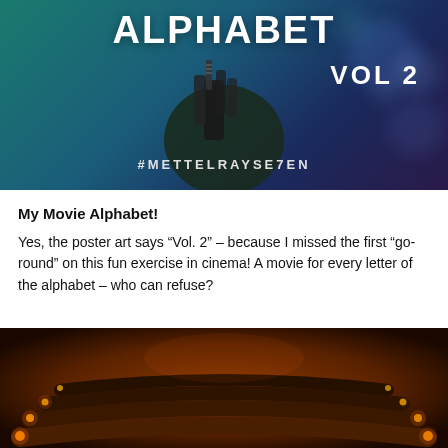[Figure (photo): Dark cinematic movie poster image showing a hand holding something, with text 'ALPHABET VOL 2' and hashtag '#METTELRAYSE7EN' overlaid on a teal and dark blue background]
My Movie Alphabet!
Yes, the poster art says “Vol. 2” – because I missed the first “go-round” on this fun exercise in cinema! A movie for every letter of the alphabet – who can refuse?
[Figure (photo): Interior of a cinema with warm orange lighting illuminating curved rows of seats]